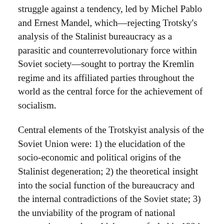struggle against a tendency, led by Michel Pablo and Ernest Mandel, which—rejecting Trotsky's analysis of the Stalinist bureaucracy as a parasitic and counterrevolutionary force within Soviet society—sought to portray the Kremlin regime and its affiliated parties throughout the world as the central force for the achievement of socialism.
Central elements of the Trotskyist analysis of the Soviet Union were: 1) the elucidation of the socio-economic and political origins of the Stalinist degeneration; 2) the theoretical insight into the social function of the bureaucracy and the internal contradictions of the Soviet state; 3) the unviability of the program of national economic autarchy, which was unfurled in 1924 by Stalin under the banner of “socialism in one country;” and 4) the ineluctable dependence of the USSR on the world-wide overthrow of the capitalist system.